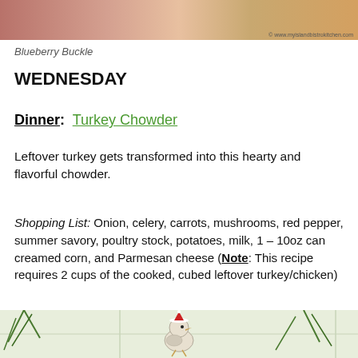[Figure (photo): Top portion of a food photo showing Blueberry Buckle on a plate with red sauce, with watermark © www.myislandbistrokitchen.com]
Blueberry Buckle
WEDNESDAY
Dinner:  Turkey Chowder
Leftover turkey gets transformed into this hearty and flavorful chowder.
Shopping List: Onion, celery, carrots, mushrooms, red pepper, summer savory, poultry stock, potatoes, milk, 1 – 10oz can creamed corn, and Parmesan cheese (Note: This recipe requires 2 cups of the cooked, cubed leftover turkey/chicken)
[Figure (photo): Bottom portion of a photo showing holiday decorations including a bird ornament with a Santa hat among pine branches]